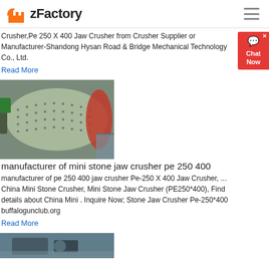zFactory
Crusher,Pe 250 X 400 Jaw Crusher from Crusher Supplier or Manufacturer-Shandong Hysan Road & Bridge Mechanical Technology Co., Ltd.
Read More
[Figure (photo): Industrial ball mill or large cylindrical grinding machine with studded surface, shown in a factory setting with red and green components.]
manufacturer of mini stone jaw crusher pe 250 400
manufacturer of pe 250 400 jaw crusher Pe-250 X 400 Jaw Crusher, ... China Mini Stone Crusher, Mini Stone Jaw Crusher (PE250*400), Find details about China Mini . Inquire Now; Stone Jaw Crusher Pe-250*400 buffalogunclub.org
Read More
[Figure (photo): Partial view of another industrial crusher or machinery, partially visible at the bottom of the page.]